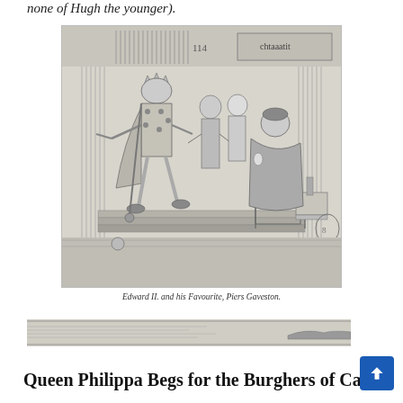none of Hugh the younger).
[Figure (illustration): Historical engraving showing Edward II and his favourite Piers Gaveston. A jester-like figure in ornate costume gestures to the left while a larger robed figure sits on a throne to the right. Two other figures stand in the background.]
Edward II. and his Favourite, Piers Gaveston.
[Figure (illustration): Partial illustration visible at the bottom of the page, appearing to be a scene related to Queen Philippa and the Burghers of Calais.]
Queen Philippa Begs for the Burghers of Calais: